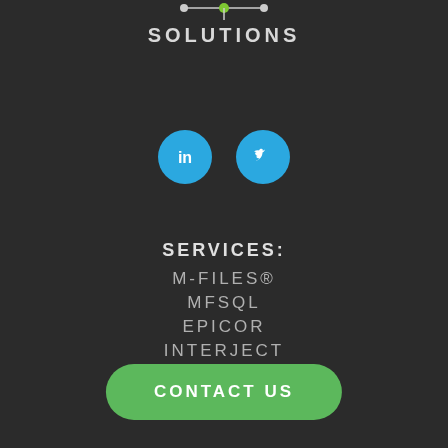[Figure (logo): Company logo showing 'SOLUTIONS' text with a network/node graphic above it featuring green and white dots connected by lines]
[Figure (illustration): Two social media icons: LinkedIn (blue circle with 'in' icon) and Twitter (blue circle with bird icon)]
SERVICES:
M-FILES®
MFSQL
EPICOR
INTERJECT
CONTACT US